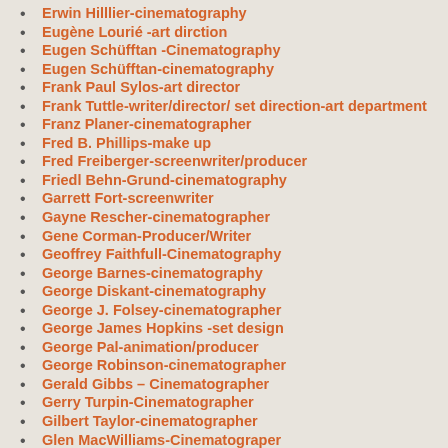Erwin Hilllier-cinematography
Eugène Lourié -art dirction
Eugen Schüfftan -Cinematography
Eugen Schüfftan-cinematography
Frank Paul Sylos-art director
Frank Tuttle-writer/director/ set direction-art department
Franz Planer-cinematographer
Fred B. Phillips-make up
Fred Freiberger-screenwriter/producer
Friedl Behn-Grund-cinematography
Garrett Fort-screenwriter
Gayne Rescher-cinematographer
Gene Corman-Producer/Writer
Geoffrey Faithfull-Cinematography
George Barnes-cinematography
George Diskant-cinematography
George J. Folsey-cinematographer
George James Hopkins -set design
George Pal-animation/producer
George Robinson-cinematographer
Gerald Gibbs – Cinematographer
Gerry Turpin-Cinematographer
Gilbert Taylor-cinematographer
Glen MacWilliams-Cinematograper